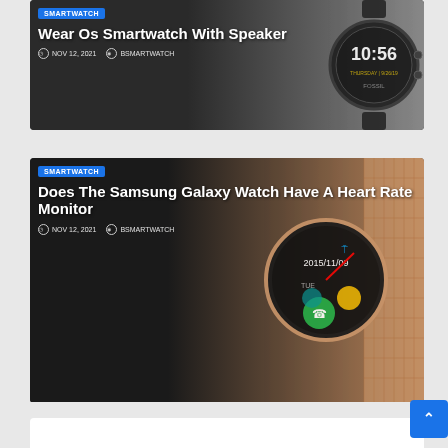[Figure (photo): Smartwatch card 1: dark Fossil smartwatch showing 10:56 time against gradient background. Category badge: SMARTWATCH. Title: Wear Os Smartwatch With Speaker. Date: NOV 12, 2021. Author: BSMARTWATCH.]
[Figure (photo): Smartwatch card 2: rose gold Samsung-style smartwatch showing 2015/11/09 date against dark-to-rose-gold gradient background. Category badge: SMARTWATCH. Title: Does The Samsung Galaxy Watch Have A Heart Rate Monitor. Date: NOV 12, 2021. Author: BSMARTWATCH.]
[Figure (photo): Partial third card visible at bottom of page.]